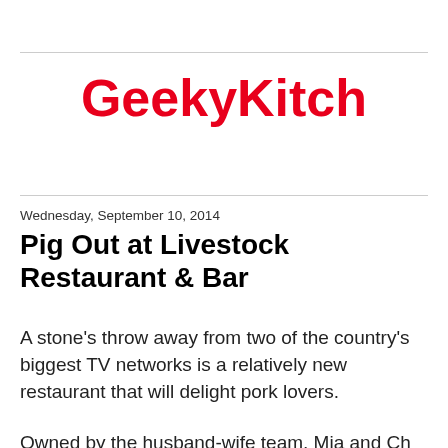GeekyKitch
Wednesday, September 10, 2014
Pig Out at Livestock Restaurant & Bar
A stone's throw away from two of the country's biggest TV networks is a relatively new restaurant that will delight pork lovers.
Owned by the husband-wife team, Mia and Ch...